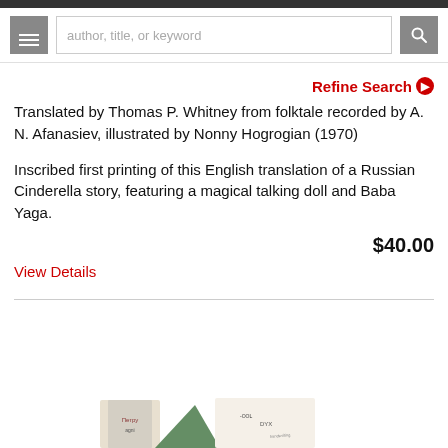author, title, or keyword [search bar]
Refine Search
Translated by Thomas P. Whitney from folktale recorded by A. N. Afanasiev, illustrated by Nonny Hogrogian (1970)
Inscribed first printing of this English translation of a Russian Cinderella story, featuring a magical talking doll and Baba Yaga.
$40.00
View Details
[Figure (photo): Partial view of book covers at the bottom of the page]